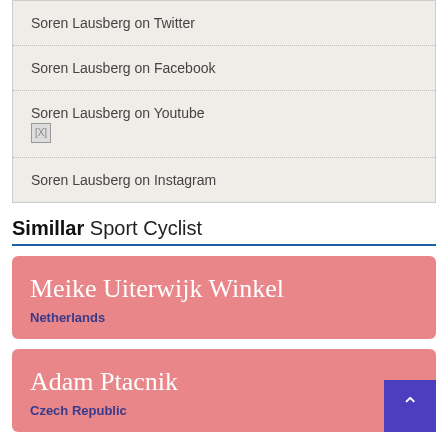Soren Lausberg on Twitter
Soren Lausberg on Facebook
Soren Lausberg on Youtube
Soren Lausberg on Instagram
Simillar Sport Cyclist
Meike Uiterwijk Winkel
Netherlands
Adam Ptacnik
Czech Republic